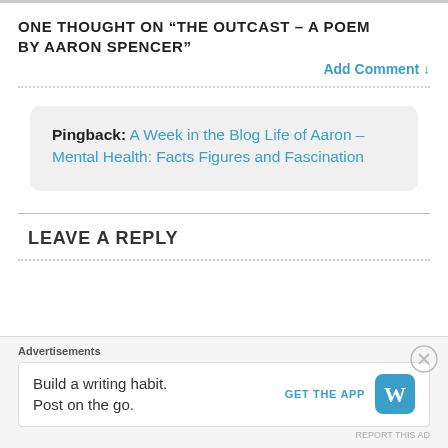ONE THOUGHT ON “THE OUTCAST – A POEM BY AARON SPENCER”
Add Comment ↓
Pingback: A Week in the Blog Life of Aaron – Mental Health: Facts Figures and Fascination
LEAVE A REPLY
Advertisements
Build a writing habit. Post on the go.
GET THE APP